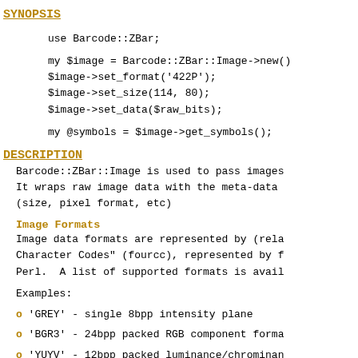SYNOPSIS
use Barcode::ZBar;
my $image = Barcode::ZBar::Image->new()
$image->set_format('422P');
$image->set_size(114, 80);
$image->set_data($raw_bits);
my @symbols = $image->get_symbols();
DESCRIPTION
Barcode::ZBar::Image is used to pass images
It wraps raw image data with the meta-data
(size, pixel format, etc)
Image Formats
Image data formats are represented by (rela
Character Codes" (fourcc), represented by f
Perl.  A list of supported formats is avail
Examples:
o 'GREY' - single 8bpp intensity plane
o 'BGR3' - 24bpp packed RGB component forma
o 'YUYV' - 12bpp packed luminance/chrominan